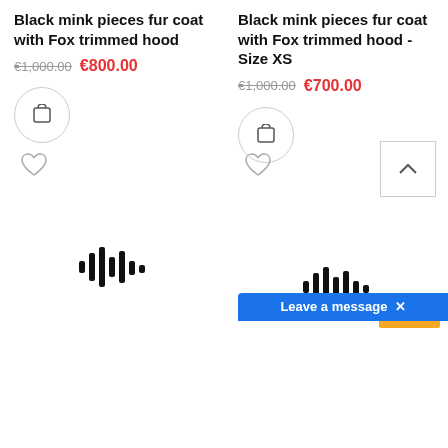Black mink pieces fur coat with Fox trimmed hood
€1,000.00  €800.00
Black mink pieces fur coat with Fox trimmed hood - Size XS
€1,000.00  €700.00
[Figure (infographic): Shopping cart icon in circular grey-bordered button]
[Figure (infographic): Shopping cart icon in circular grey-bordered button]
[Figure (infographic): Heart/wishlist icon outline]
[Figure (infographic): Heart/wishlist icon outline]
-25%
[Figure (infographic): Audio waveform bars icon]
[Figure (infographic): Audio waveform bars icon]
[Figure (infographic): Scroll to top arrow button]
Leave a message